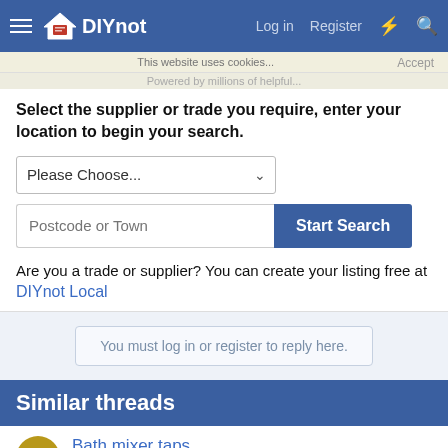DIYnot — Log in  Register
Select the supplier or trade you require, enter your location to begin your search.
Please Choose...
Postcode or Town  Start Search
Are you a trade or supplier? You can create your listing free at DIYnot Local
You must log in or register to reply here.
Similar threads
Bath mixer taps
sparkyspike · Plumbing and Central Heating
Replies: 8 · 17 Apr 2007